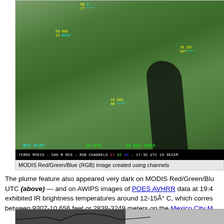[Figure (photo): MODIS Red/Green/Blue (RGB) satellite image showing a dark volcanic plume feature over a green landscape. Contains overlay text: SFC PLOT, 18 UTC, 18 Dec 2010. Bottom bar reads: TERRA MODIS - 500 M RES - RGB CHANNELS 07 02 00 - 17:35 UTC 19 DECEM. Data labels in yellow and cyan showing numerical weather station data.]
MODIS Red/Green/Blue (RGB) image created using channels
The plume feature also appeared very dark on MODIS Red/Green/Blu UTC (above) — and on AWIPS images of POES AVHRR data at 19:4 exhibited IR brightness temperatures around 12-15Å° C, which corres between 9307-10,656 feet or 2838-3249 meters on the Mexico City M
[Figure (photo): Partial view of a grayscale satellite or sensor image at the bottom of the page, partially cropped.]